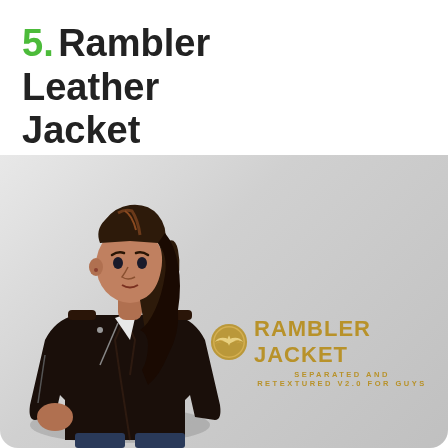5. Rambler Leather Jacket
[Figure (illustration): A 3D rendered male Sims-style character wearing a dark brown/black leather motorcycle jacket with diagonal zipper, white undershirt, and dark jeans. Character has long dark brown hair pulled back. Overlaid with a gold 'RAMBLER JACKET' logo with a winged emblem and subtext 'SEPARATED AND RETEXTURED V2.0 FOR GUYS' on a gray gradient background.]